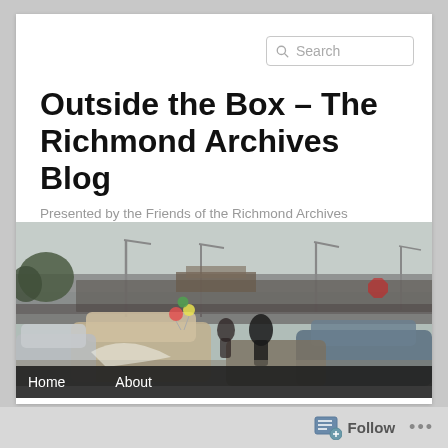Outside the Box – The Richmond Archives Blog
Presented by the Friends of the Richmond Archives
[Figure (photo): Vintage photograph showing a crowd of people and cars lined up at what appears to be a public event or parade, with street lights and trees visible in the background. A car decorated with balloons is visible in the foreground.]
Home   About
Follow